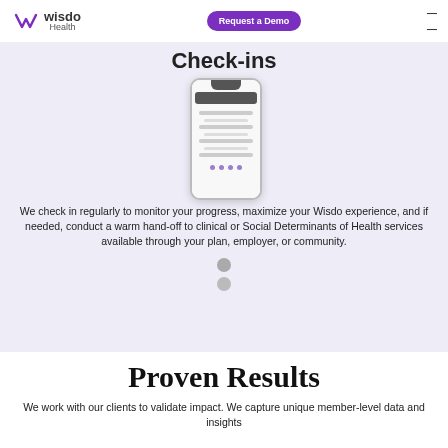Wisdo Health | Request a Demo
Check-ins
[Figure (screenshot): Mobile phone screen mockup showing a check-in interface with a dark header bar and several rows of text/options]
We check in regularly to monitor your progress, maximize your Wisdo experience, and if needed, conduct a warm hand-off to clinical or Social Determinants of Health services available through your plan, employer, or community.
Proven Results
We work with our clients to validate impact. We capture unique member-level data and insights